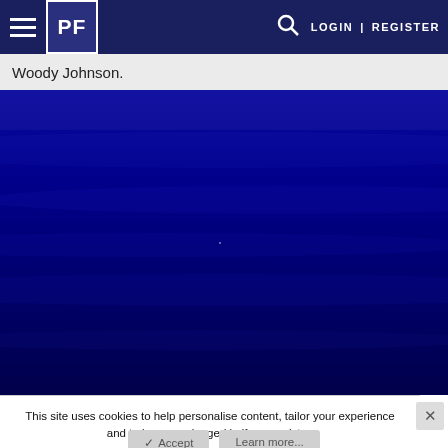PF LOGIN | REGISTER
Woody Johnson.
[Figure (photo): Dark blue background image, possibly water or abstract texture with dark navy tones]
This site uses cookies to help personalise content, tailor your experience and to keep you logged in if you register. By continuing to use this site, you are consenting to our use of cookies.
Accept
Learn more...